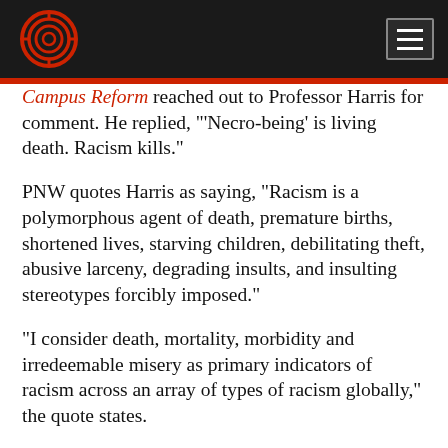Campus Reform [logo and menu]
Campus Reform reached out to Professor Harris for comment. He replied, "Necro-being' is living death. Racism kills."
PNW quotes Harris as saying, "Racism is a polymorphous agent of death, premature births, shortened lives, starving children, debilitating theft, abusive larceny, degrading insults, and insulting stereotypes forcibly imposed."
"I consider death, mortality, morbidity and irredeemable misery as primary indicators of racism across an array of types of racism globally," the quote states.
Campus Reform reached out to Campus Inst...